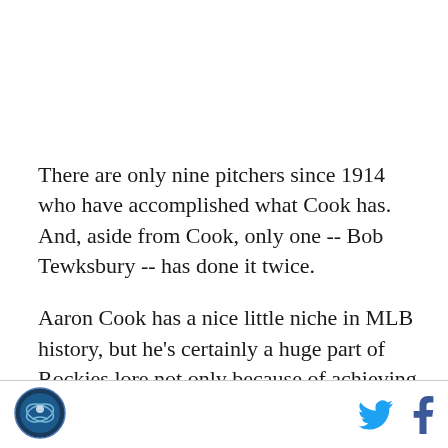There are only nine pitchers since 1914 who have accomplished what Cook has. And, aside from Cook, only one -- Bob Tewksbury -- has done it twice.
Aaron Cook has a nice little niche in MLB history, but he's certainly a huge part of Rockies lore not only because of achieving the vastly unheralded feat described above, but also because he was the ultimate